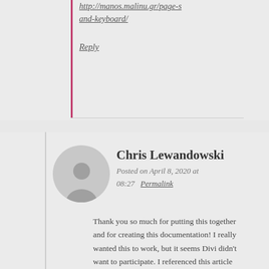http://manos.malinu.gr/page-s and-keyboard/
Reply
Chris Lewandowski
Posted on April 8, 2020 at 08:27   Permalink
Thank you so much for putting this together and for creating this documentation! I really wanted this to work, but it seems Divi didn't want to participate. I referenced this article and seems there is a toggle switch to make the scroll work: